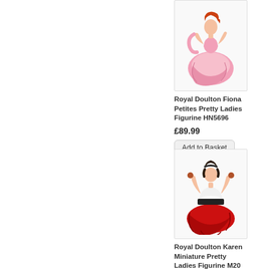[Figure (photo): Royal Doulton Fiona figurine in pink dress – Petites Pretty Ladies collection, HN5696]
Royal Doulton Fiona Petites Pretty Ladies Figurine HN5696
£89.99
Add to Basket
[Figure (photo): Royal Doulton Karen Miniature Pretty Ladies Figurine in red dress – M20]
Royal Doulton Karen Miniature Pretty Ladies Figurine M20
£14.99
Add to Basket